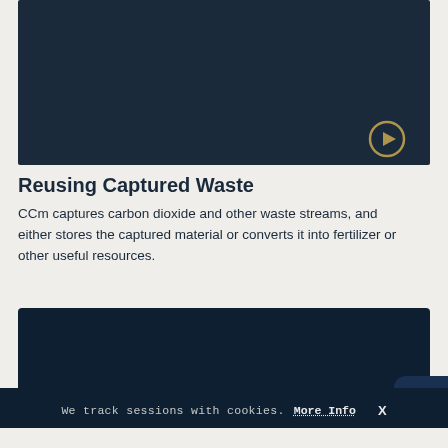[Figure (screenshot): Dark blue/navy video thumbnail with a circular play button icon in the lower right area]
Reusing Captured Waste
CCm captures carbon dioxide and other waste streams, and either stores the captured material or converts it into fertilizer or other useful resources.
[Figure (screenshot): Dark navy card/panel with cookie consent bar reading: We track sessions with cookies. More Info  X]
RE:TV  MENU  Powered by BANK OF AMERICA